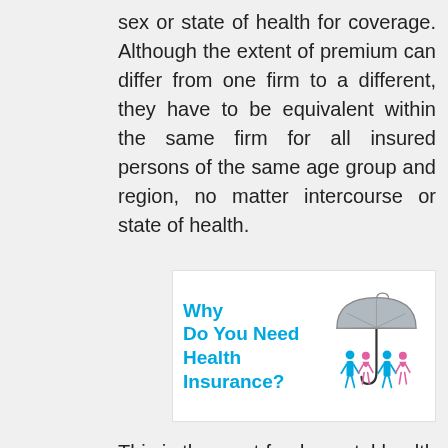sex or state of health for coverage. Although the extent of premium can differ from one firm to a different, they have to be equivalent within the same firm for all insured persons of the same age group and region, no matter intercourse or state of health.
[Figure (infographic): Infographic with text 'Why Do You Need Health Insurance?' in bold blue text on left, and an illustration of a gray umbrella sheltering four people (two blue, two pink) on right]
This is the most fundamental health insurance plan that everyone must-have. Optima Restore is certainly one of the most really helpful Indemnity health insurance